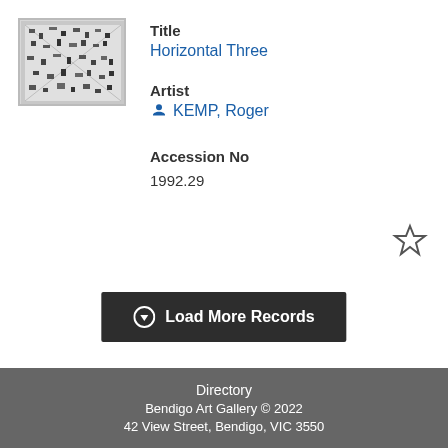[Figure (photo): Small thumbnail of artwork 'Horizontal Three' - black and white print with abstract/figurative content, framed with a light border]
Title
Horizontal Three
Artist
KEMP, Roger
Accession No
1992.29
Load More Records
Directory
Bendigo Art Gallery © 2022
42 View Street, Bendigo, VIC 3550